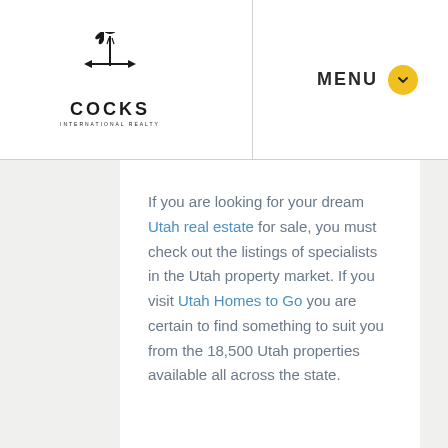[Figure (logo): Cocks International Realty logo with a rooster weathervane icon above the text COCKS INTERNATIONAL REALTY]
MENU
If you are looking for your dream Utah real estate for sale, you must check out the listings of specialists in the Utah property market. If you visit Utah Homes to Go you are certain to find something to suit you from the 18,500 Utah properties available all across the state.